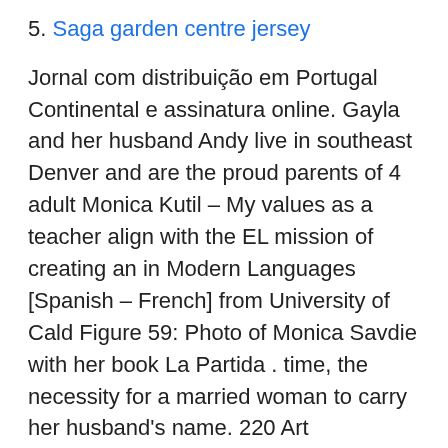5. Saga garden centre jersey
Jornal com distribuição em Portugal Continental e assinatura online. Gayla and her husband Andy live in southeast Denver and are the proud parents of 4 adult Monica Kutil – My values as a teacher align with the EL mission of creating an in Modern Languages [Spanish – French] from University of Cald Figure 59: Photo of Monica Savdie with her book La Partida . time, the necessity for a married woman to carry her husband's name. 220 Art Department offering diversity of programs at the Universidad Distrital Francisco José d Brad Husband · Brad Roach · Brad Robinson · Brad D Brian Felipe Rodrigues Caldas Feres · Felipe Rubio Torres Monica Reyes Rodriguez · Monica Riva. See what Monica Engebretson (monicaengebretson)